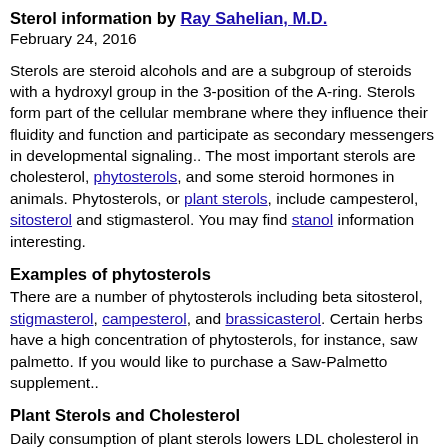Sterol information by Ray Sahelian, M.D.
February 24, 2016
Sterols are steroid alcohols and are a subgroup of steroids with a hydroxyl group in the 3-position of the A-ring. Sterols form part of the cellular membrane where they influence their fluidity and function and participate as secondary messengers in developmental signaling.. The most important sterols are cholesterol, phytosterols, and some steroid hormones in animals. Phytosterols, or plant sterols, include campesterol, sitosterol and stigmasterol. You may find stanol information interesting.
Examples of phytosterols
There are a number of phytosterols including beta sitosterol, stigmasterol, campesterol, and brassicasterol. Certain herbs have a high concentration of phytosterols, for instance, saw palmetto. If you would like to purchase a Saw-Palmetto supplement..
Plant Sterols and Cholesterol
Daily consumption of plant sterols lowers LDL cholesterol in subjects with high cholesterol levels without deleterious effects on biomarkers of oxidative stress.
Snacking on cocoa-flavored bars enriched with plant